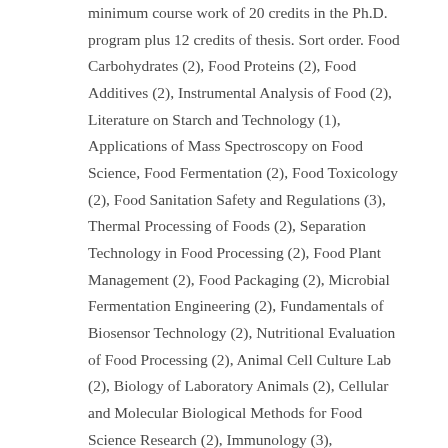minimum course work of 20 credits in the Ph.D. program plus 12 credits of thesis. Sort order. Food Carbohydrates (2), Food Proteins (2), Food Additives (2), Instrumental Analysis of Food (2), Literature on Starch and Technology (1), Applications of Mass Spectroscopy on Food Science, Food Fermentation (2), Food Toxicology (2), Food Sanitation Safety and Regulations (3), Thermal Processing of Foods (2), Separation Technology in Food Processing (2), Food Plant Management (2), Food Packaging (2), Microbial Fermentation Engineering (2), Fundamentals of Biosensor Technology (2), Nutritional Evaluation of Food Processing (2), Animal Cell Culture Lab (2), Biology of Laboratory Animals (2), Cellular and Molecular Biological Methods for Food Science Research (2), Immunology (3), Introduction to Immunology (3), Biomolecular Kinetics (2), Nutrigenomics (2), Molecular Nutrition (2), Clinical Nutrition and Dietary Therapy (2), Principle and Application of